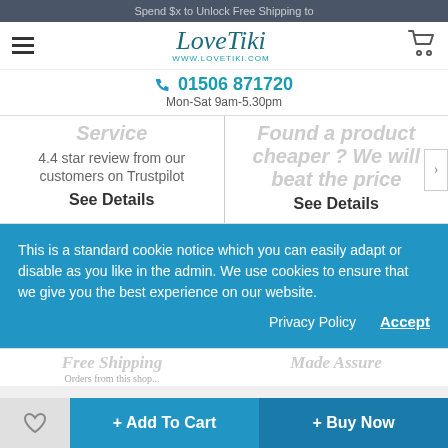Spend $x to Unlock Free Shipping to
[Figure (logo): LoveTiki logo with www.lovetiki.com URL]
01506 871720
Mon-Sat 9am-5.30pm
Service
4.4 star review from our customers on Trustpilot
See Details
Found a product cheaper ? We will beat the price
See Details
This is a standard cookie notice which you can easily adapt or disable as you like in the admin. We use cookies to ensure that we give you the best experience on our website.
Privacy Policy   Accept
Free Shipping
Made Assure
+ Add To Cart
+ Buy Now